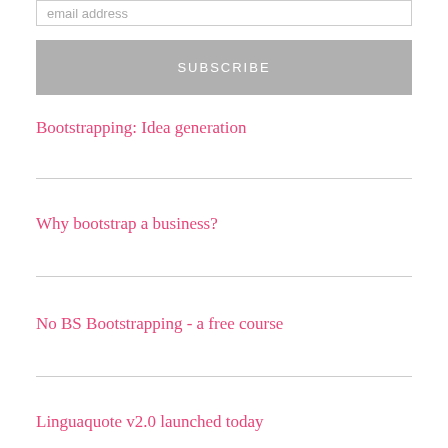email address
SUBSCRIBE
Bootstrapping: Idea generation
Why bootstrap a business?
No BS Bootstrapping - a free course
Linguaquote v2.0 launched today